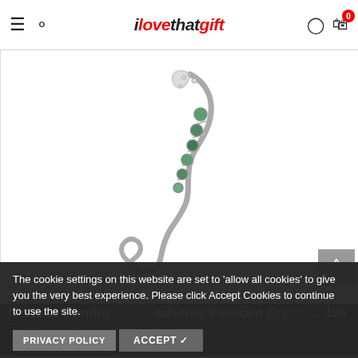ilovethatgift
[Figure (photo): Close-up photo of a silver and green gemstone seahorse pendant/jewelry piece on white background, showing the lower curved tail portion with green stones set in silver.]
[Figure (photo): Thumbnail strip with three jewelry product images: star and charm necklace, another star/charm necklace with green stone, and a plain necklace on white background.]
The cookie settings on this website are set to 'allow all cookies' to give you the very best experience. Please click Accept Cookies to continue to use the site.
Mariana Handmade Seahorse Pendant Cry... 439 Starfish
PRIVACY POLICY   ACCEPT ✔